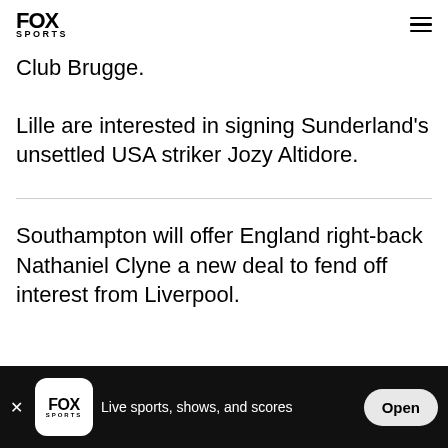FOX SPORTS
Club Brugge.
Lille are interested in signing Sunderland's unsettled USA striker Jozy Altidore.
Southampton will offer England right-back Nathaniel Clyne a new deal to fend off interest from Liverpool.
[Figure (other): Fox Sports app banner at bottom of screen with close button, Fox Sports logo, text 'Live sports, shows, and scores', and 'Open' button]